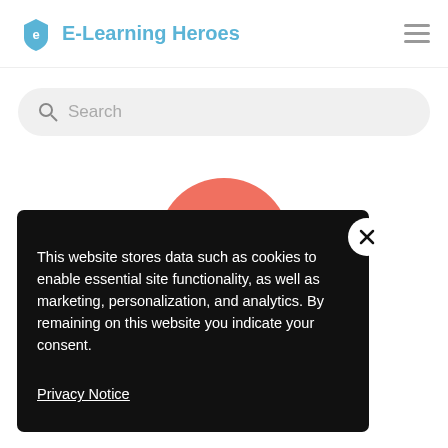E-Learning Heroes
Search
[Figure (illustration): Partial salmon/coral colored circle visible behind cookie consent banner]
This website stores data such as cookies to enable essential site functionality, as well as marketing, personalization, and analytics. By remaining on this website you indicate your consent.
Privacy Notice